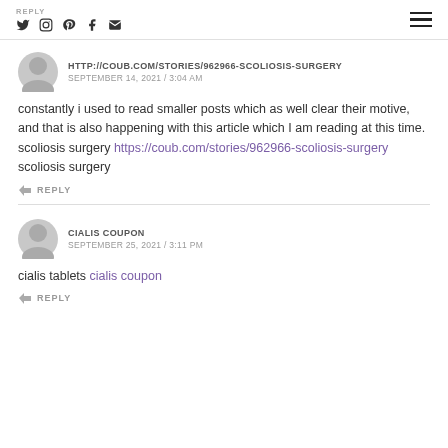REPLY | social icons | hamburger menu
HTTP://COUB.COM/STORIES/962966-SCOLIOSIS-SURGERY
SEPTEMBER 14, 2021 / 3:04 AM
constantly i used to read smaller posts which as well clear their motive, and that is also happening with this article which I am reading at this time. scoliosis surgery https://coub.com/stories/962966-scoliosis-surgery scoliosis surgery
REPLY
CIALIS COUPON
SEPTEMBER 25, 2021 / 3:11 PM
cialis tablets cialis coupon
REPLY